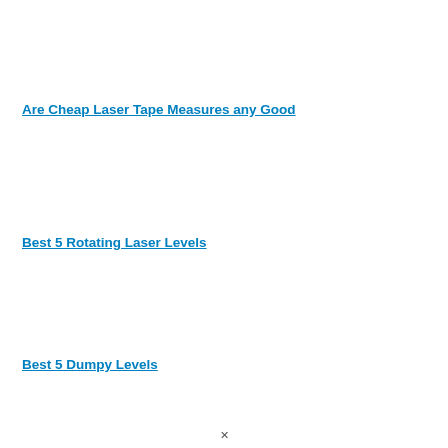Are Cheap Laser Tape Measures any Good
Best 5 Rotating Laser Levels
Best 5 Dumpy Levels